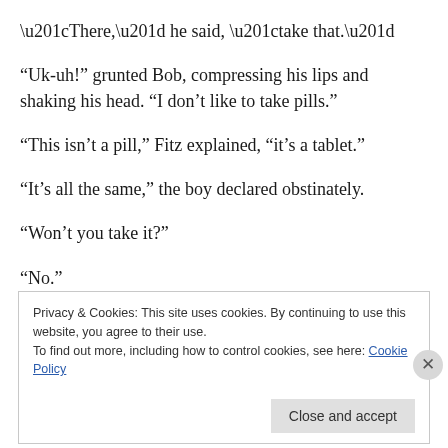“There,” he said, “take that.”
“Uk-uh!” grunted Bob, compressing his lips and shaking his head. “I don’t like to take pills.”
“This isn’t a pill,” Fitz explained, “it’s a tablet.”
“It’s all the same,” the boy declared obstinately.
“Won’t you take it?”
“No.”
Privacy & Cookies: This site uses cookies. By continuing to use this website, you agree to their use.
To find out more, including how to control cookies, see here: Cookie Policy
Close and accept